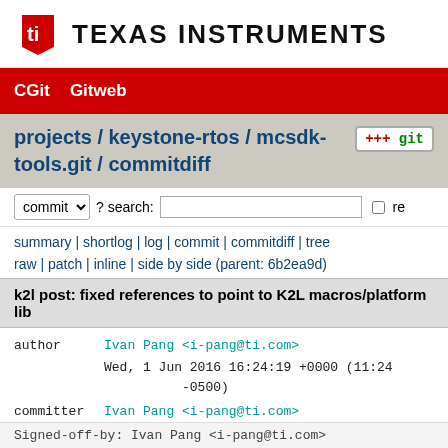[Figure (logo): Texas Instruments logo with red TI emblem and 'TEXAS INSTRUMENTS' text]
CGit   Gitweb
projects / keystone-rtos / mcsdk-tools.git / commitdiff
commit ? search: re
summary | shortlog | log | commit | commitdiff | tree
raw | patch | inline | side by side (parent: 6b2ea9d)
k2l post: fixed references to point to K2L macros/platform lib
author    Ivan Pang <i-pang@ti.com>
          Wed, 1 Jun 2016 16:24:19 +0000 (11:24 -0500)
committer Ivan Pang <i-pang@ti.com>
          Wed, 1 Jun 2016 16:24:19 +0000 (11:24 -0500)
Signed-off-by: Ivan Pang <i-pang@ti.com>